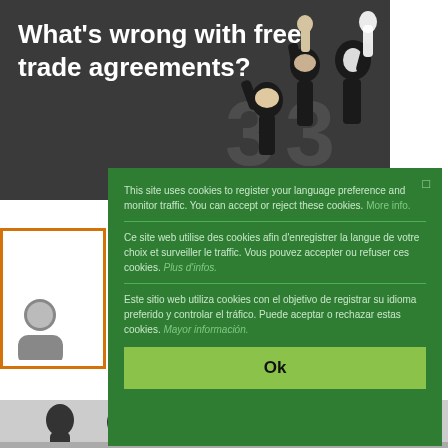What's wrong with free trade agreements?
[Figure (illustration): Black and white illustration of protest figures with raised fists]
This site uses cookies to register your language preference and monitor traffic. You can accept or reject these cookies. More info.
Ce site web utilise des cookies afin d'enregistrer la langue de votre choix et surveiller le traffic. Vous pouvez accepter ou refuser ces cookies. Plus d'infos.
Este sitio web utiliza cookies con el objetivo de registrar su idioma preferido y controlar el tráfico. Puede aceptar o rechazar estas cookies. Mayor información.
Ok